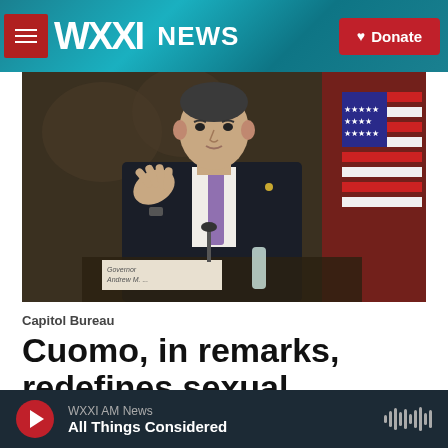WXXI NEWS | Donate
[Figure (photo): Governor Andrew Cuomo gesturing with one hand at a press conference, wearing a dark suit and purple tie, with an American flag visible in the background]
Capitol Bureau
Cuomo, in remarks, redefines sexual harassment
Karen DeWitt, May 13, 2021
Gov. Andrew Cuomo fueled new controversy Thursday over sexual harassment allegations against him when he
WXXI AM News | All Things Considered